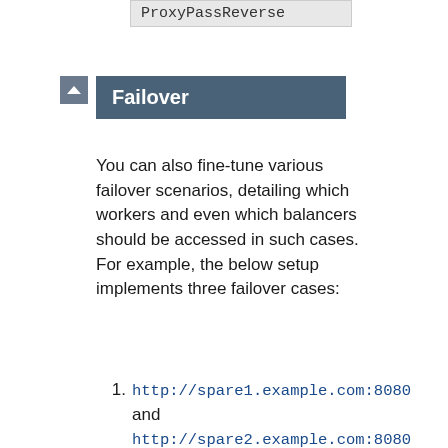ProxyPassReverse
Failover
You can also fine-tune various failover scenarios, detailing which workers and even which balancers should be accessed in such cases. For example, the below setup implements three failover cases:
http://spare1.example.com:8080 and http://spare2.example.com:8080 are only sent traffic if one or both of http://www2.example.com:8080 or http://www3.example.com:8080 is unavailable. (One spare will be used to replace